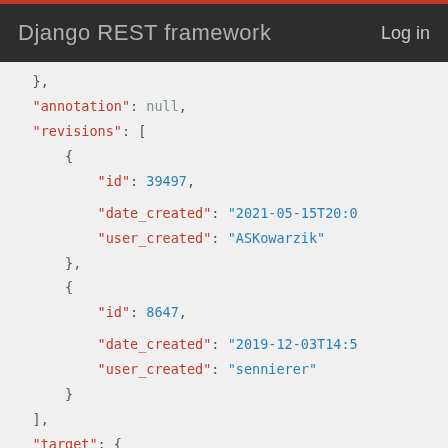Django REST framework   Log in
},
"annotation": null,
"revisions": [
    {
        "id": 39497,
        "date_created": "2021-05-15T20:06
        "user_created": "ASKowarzik"
    },
    {
        "id": 8647,
        "date_created": "2019-12-03T14:55
        "user_created": "sennierer"
    }
],
"target": {
    "id": 4696,
    "url": "https://mpr.acdh.oeaw.ac.at/e
    "name": "Regierung Lammasch",
    "start_date": null,
    "end_date": null,
    "uris": [
        {
            "id": 3370,